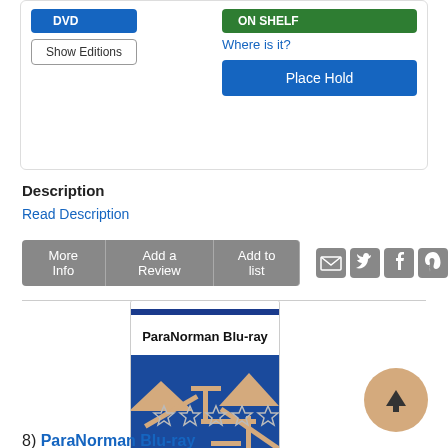DVD
Show Editions
ON SHELF
Where is it?
Place Hold
Description
Read Description
More Info
Add a Review
Add to list
[Figure (illustration): ParaNorman Blu-ray cover image showing geometric shapes (triangles, lines) in tan/beige on a dark blue background]
8) ParaNorman Blu-ray